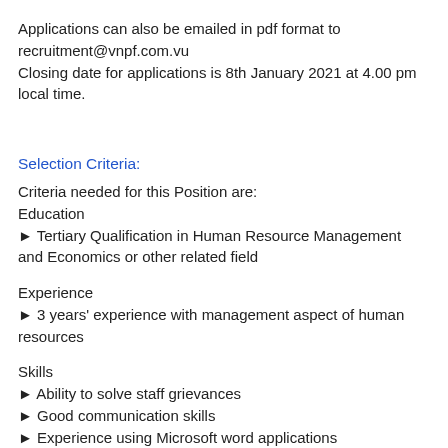Applications can also be emailed in pdf format to recruitment@vnpf.com.vu
Closing date for applications is 8th January 2021 at 4.00 pm local time.
Selection Criteria:
Criteria needed for this Position are:
Education
⮚ Tertiary Qualification in Human Resource Management and Economics or other related field
Experience
⮚ 3 years' experience with management aspect of human resources
Skills
⮚ Ability to solve staff grievances
⮚ Good communication skills
⮚ Experience using Microsoft word applications
⮚ Demonstrate analytical and problem solving skills